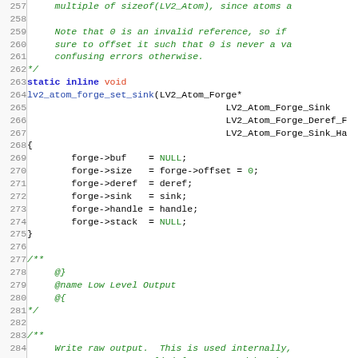[Figure (screenshot): Source code listing in C showing lines 257-286 of a function lv2_atom_forge_set_sink with syntax highlighting. Comments in green italic, keywords in blue bold, type names in red/orange, identifiers in dark blue monospace.]